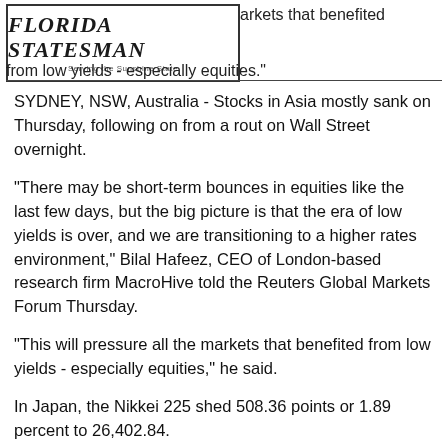[Figure (logo): Florida Statesman newspaper logo with tagline 'Serving the Sunshine State']
markets that benefited from low yields - especially equities."
SYDNEY, NSW, Australia - Stocks in Asia mostly sank on Thursday, following on from a rout on Wall Street overnight.
"There may be short-term bounces in equities like the last few days, but the big picture is that the era of low yields is over, and we are transitioning to a higher rates environment," Bilal Hafeez, CEO of London-based research firm MacroHive told the Reuters Global Markets Forum Thursday.
"This will pressure all the markets that benefited from low yields - especially equities," he said.
In Japan, the Nikkei 225 shed 508.36 points or 1.89 percent to 26,402.84.